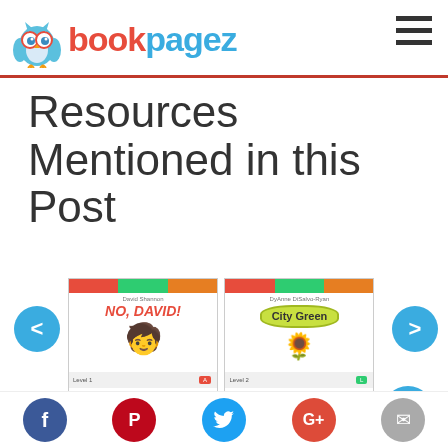bookpagez
Resources Mentioned in this Post
[Figure (screenshot): Book carousel showing two book covers: 'No, David!' and 'City Green', with left (<) and right (>) navigation buttons, and Download buttons below each book.]
Social sharing icons: Facebook, Pinterest, Twitter, Google+, Email